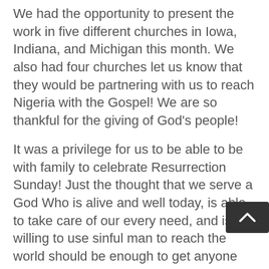We had the opportunity to present the work in five different churches in Iowa, Indiana, and Michigan this month. We also had four churches let us know that they would be partnering with us to reach Nigeria with the Gospel! We are so thankful for the giving of God's people!
It was a privilege for us to be able to be with family to celebrate Resurrection Sunday! Just the thought that we serve a God Who is alive and well today, is able to take care of our every need, and is willing to use sinful man to reach the world should be enough to get anyone excited! Nobody else was ever born like Jesus was born, nobody else ever lived like He lived, nobody else ever died like He died, and nobody else ever rose again like He rose again! Praise the Lord!